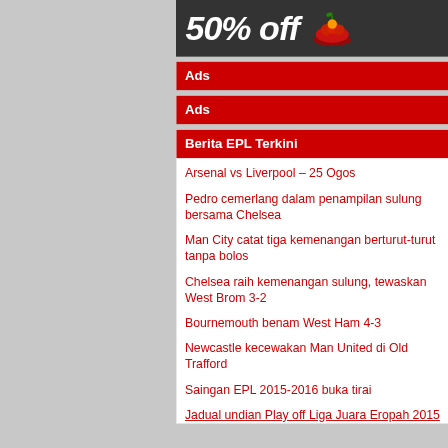[Figure (illustration): Dark grey banner showing '50% off' text in large bold italic white letters with a decorative icon on the right]
Ads
Ads
Berita EPL Terkini
Arsenal vs Liverpool – 25 Ogos
Pedro cemerlang dalam penampilan sulung bersama Chelsea
Man City catat tiga kemenangan berturut-turut tanpa bolos
Chelsea raih kemenangan sulung, tewaskan West Brom 3-2
Bournemouth benam West Ham 4-3
Newcastle kecewakan Man United di Old Trafford
Saingan EPL 2015-2016 buka tirai
Jadual undian Play off Liga Juara Eropah 2015